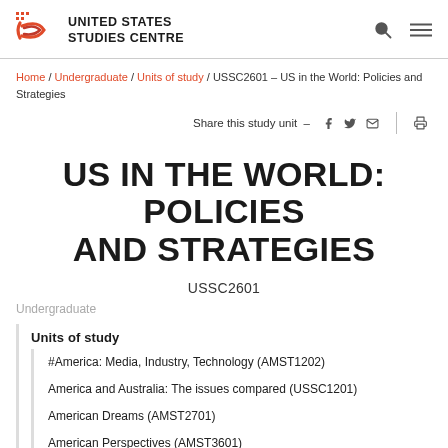UNITED STATES STUDIES CENTRE
Home / Undergraduate / Units of study / USSC2601 – US in the World: Policies and Strategies
Share this study unit
US IN THE WORLD: POLICIES AND STRATEGIES
USSC2601
Undergraduate
Units of study
#America: Media, Industry, Technology (AMST1202)
America and Australia: The issues compared (USSC1201)
American Dreams (AMST2701)
American Perspectives (AMST3601)